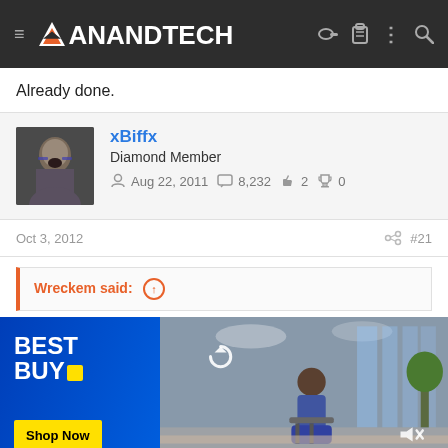AnandTech
Already done.
xBiffx
Diamond Member
Aug 22, 2011  8,232  2  0
Oct 3, 2012  #21
Wreckem said:
[Figure (photo): Best Buy advertisement with a person sitting in an office/showroom environment, showing a video player with refresh icon and mute icon. Includes Best Buy logo and Shop Now button.]